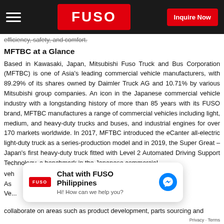FUSO — Inquire Now
efficiency, safety, and comfort.
MFTBC at a Glance
Based in Kawasaki, Japan, Mitsubishi Fuso Truck and Bus Corporation (MFTBC) is one of Asia's leading commercial vehicle manufacturers, with 89.29% of its shares owned by Daimler Truck AG and 10.71% by various Mitsubishi group companies. An icon in the Japanese commercial vehicle industry with a longstanding history of more than 85 years with its FUSO brand, MFTBC manufactures a range of commercial vehicles including light, medium, and heavy-duty trucks and buses, and industrial engines for over 170 markets worldwide. In 2017, MFTBC introduced the eCanter all-electric light-duty truck as a series-production model and in 2019, the Super Great – Japan's first heavy-duty truck fitted with Level 2 Automated Driving Support Technology, a benchmark in the Japanese commercial vehicle...
[Figure (screenshot): Chat widget: Chat with FUSO Philippines — Hi! How can we help you? with Messenger icon]
collaborate on areas such as product development, parts sourcing and